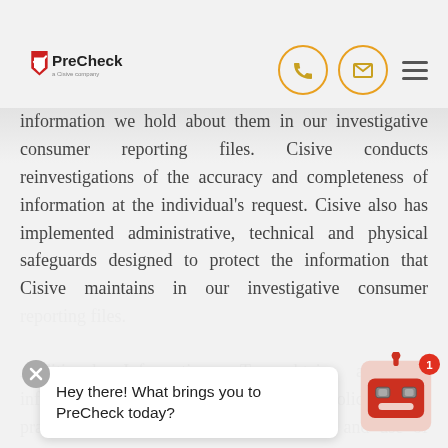PreCheck - a Cisive company
information we hold about them in our investigative consumer reporting files. Cisive conducts reinvestigations of the accuracy and completeness of information at the individual's request. Cisive also has implemented administrative, technical and physical safeguards designed to protect the information that Cisive maintains in our investigative consumer reporting files.
Additional Information: To obtain additional information about Cisive's privacy policies and practices with respect to the preparation and use of investigative consumer reports, please contact: